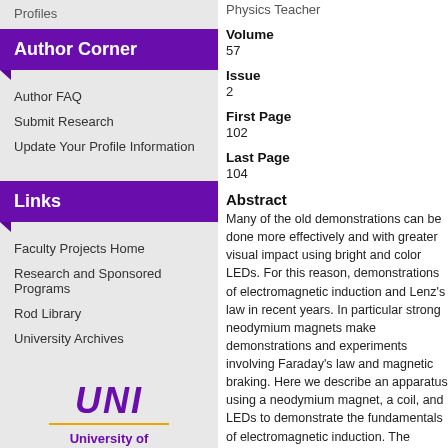Profiles
Author Corner
Author FAQ
Submit Research
Update Your Profile Information
Links
Faculty Projects Home
Research and Sponsored Programs
Rod Library
University Archives
[Figure (logo): UNI University of Northern Iowa logo with italic purple UNI text and gold underline]
Physics Teacher
Volume
57
Issue
2
First Page
102
Last Page
104
Abstract
Many of the old demonstrations can be done more effectively and with greater visual impact using bright and color LEDs. For this reason, demonstrations of electromagnetic induction and Lenz's law in recent years. In particular strong neodymium magnets make demonstrations and experiments involving Faraday's law and magnetic braking. Here we describe an apparatus using a neodymium magnet, a coil, and LEDs to demonstrate the fundamentals of electromagnetic induction. The apparatus provides a visual demonstration and can be adjusted in difficulty. The demonstrations described here are visually appealing; they may be
Department
Department of Physics